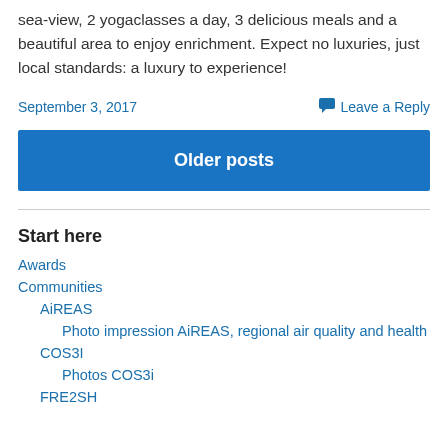sea-view, 2 yogaclasses a day, 3 delicious meals and a beautiful area to enjoy enrichment. Expect no luxuries, just local standards: a luxury to experience!
September 3, 2017    Leave a Reply
Older posts
Start here
Awards
Communities
AiREAS
Photo impression AiREAS, regional air quality and health
COS3I
Photos COS3i
FRE2SH